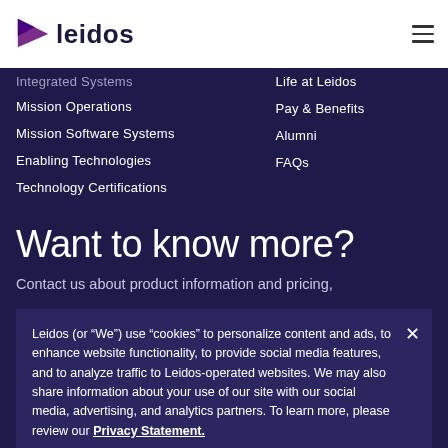[Figure (logo): Leidos logo with purple triangle arrow and dark navy wordmark 'leidos']
Integrated Systems
Mission Operations
Mission Software Systems
Enabling Technologies
Technology Certifications
Life at Leidos
Pay & Benefits
Alumni
FAQs
Want to know more?
Contact us about product information and pricing,
Leidos (or “We”) use “cookies” to personalize content and ads, to enhance website functionality, to provide social media features, and to analyze traffic to Leidos-operated websites. We may also share information about your use of our site with our social media, advertising, and analytics partners. To learn more, please review our Privacy Statement.